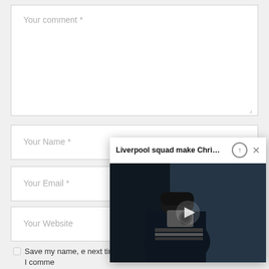Your comment *
Your Name *
Your Email *
Your Website
Save my name, e… next time I comme…
[Figure (screenshot): Floating video popup with title 'Liverpool squad make Chri…', an up-arrow icon, a close X button, and a dark video thumbnail showing a person holding a camera with a play button overlay.]